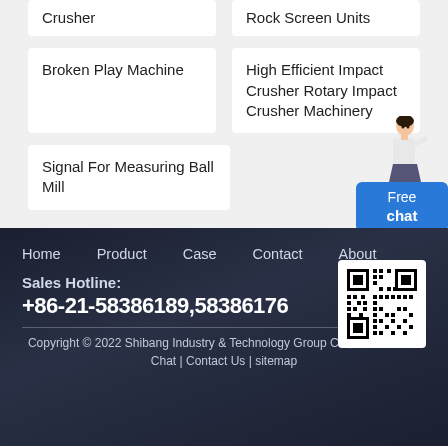Crusher
Rock Screen Units
Broken Play Machine
High Efficient Impact Crusher Rotary Impact Crusher Machinery
Signal For Measuring Ball Mill
[Figure (illustration): Female assistant figure pointing, with Free chat button overlay]
Home   Product   Case   Contact   About
[Figure (other): QR code image for website]
Sales Hotline: +86-21-58386189,58386176
Copyright © 2022 Shibang Industry & Technology Group Co., Ltd.   Online Chat | Contact Us | sitemap